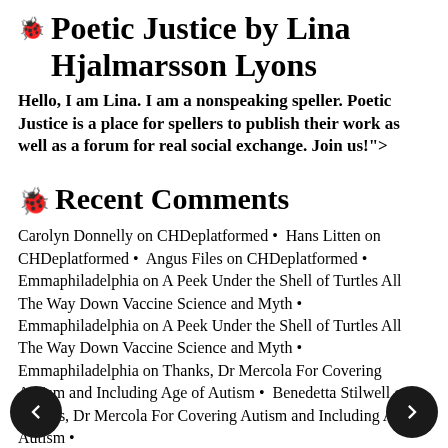Poetic Justice by Lina Hjalmarsson Lyons
Hello, I am Lina. I am a nonspeaking speller. Poetic Justice is a place for spellers to publish their work as well as a forum for real social exchange. Join us!">
Recent Comments
Carolyn Donnelly on CHDeplatformed • Hans Litten on CHDeplatformed • Angus Files on CHDeplatformed • Emmaphiladelphia on A Peek Under the Shell of Turtles All The Way Down Vaccine Science and Myth • Emmaphiladelphia on A Peek Under the Shell of Turtles All The Way Down Vaccine Science and Myth • Emmaphiladelphia on Thanks, Dr Mercola For Covering Autism and Including Age of Autism • Benedetta Stilwell on Thanks, Dr Mercola For Covering Autism and Including Age of Autism •